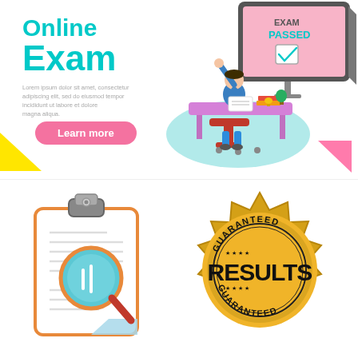Online Exam
Lorem ipsum dolor sit amet, consectetur adipiscing elit, sed do eiusmod tempor incididunt ut labore et dolore magna aliqua.
Learn more
[Figure (illustration): Isometric illustration of a student celebrating at a desk with a computer monitor showing EXAM PASSED with a checkmark]
[Figure (illustration): Clipboard with magnifying glass icon, showing lines of text being examined]
[Figure (illustration): Gold badge/seal with text GUARANTEED RESULTS GUARANTEED and stars]